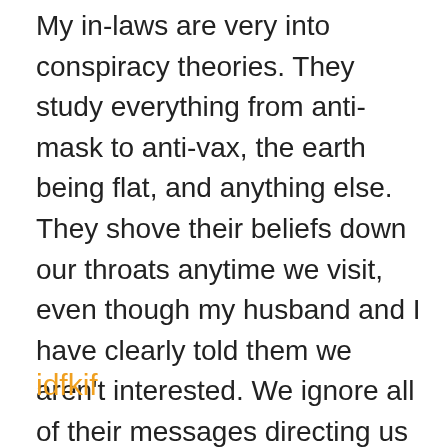My in-laws are very into conspiracy theories. They study everything from anti-mask to anti-vax, the earth being flat, and anything else. They shove their beliefs down our throats anytime we visit, even though my husband and I have clearly told them we aren't interested. We ignore all of their messages directing us to website proof and re-routing most conversations.
idfkif